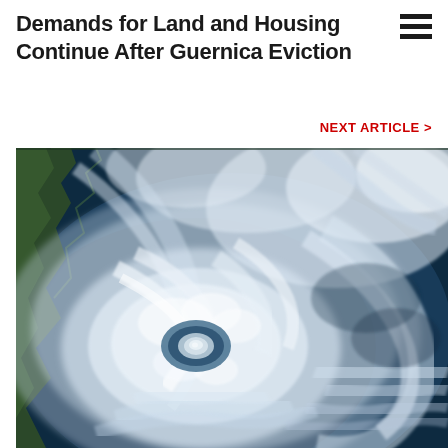Demands for Land and Housing Continue After Guernica Eviction
NEXT ARTICLE >
[Figure (photo): Satellite aerial view of a hurricane / tropical cyclone over ocean, showing the characteristic spiral cloud bands and eye of the storm. Green landmass visible on the left edge.]